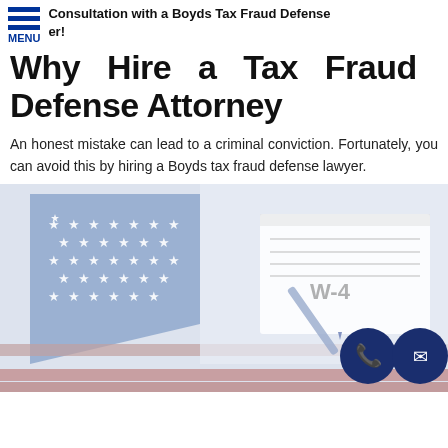Consultation with a Boyds Tax Fraud Defense er!
Why Hire a Tax Fraud Defense Attorney
An honest mistake can lead to a criminal conviction. Fortunately, you can avoid this by hiring a Boyds tax fraud defense lawyer.
[Figure (photo): American flag with stars and red/white stripes overlaid with tax forms including W-4 and a blue pen, with two circular dark navy contact buttons (phone and email) in the bottom right corner.]